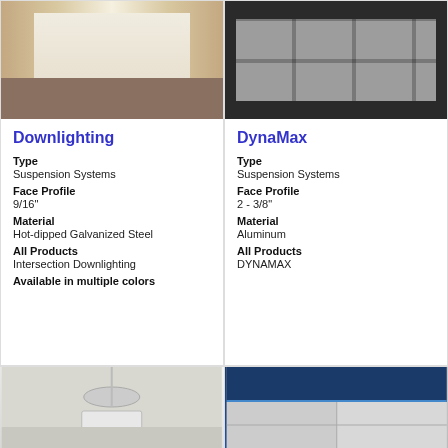[Figure (photo): Interior hallway with white seating, warm lighting, and carpeted floor]
Downlighting
Type
Suspension Systems
Face Profile
9/16"
Material
Hot-dipped Galvanized Steel
All Products
Intersection Downlighting
Available in multiple colors
[Figure (photo): Ceiling installation with DynaMax suspension system, grid panels with linear light element]
DynaMax
Type
Suspension Systems
Face Profile
2 - 3/8"
Material
Aluminum
All Products
DYNAMAX
[Figure (photo): Pendant light fixture in interior space]
[Figure (photo): Ceiling grid tile system with blue accent lighting]